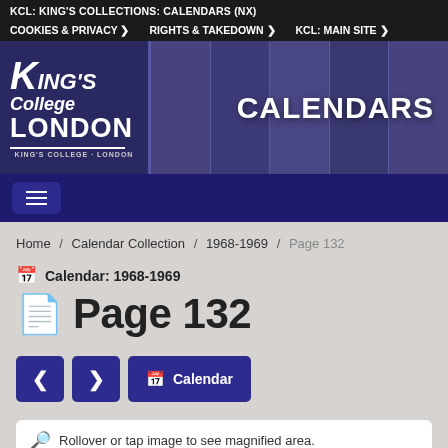KCL: KING'S COLLECTIONS: CALENDARS (NX)
COOKIES & PRIVACY  RIGHTS & TAKEDOWN  KCL: MAIN SITE
[Figure (logo): King's College London banner with calendar images and CALENDARS text]
Home / Calendar Collection / 1968-1969 / Page 132
Calendar: 1968-1969
Page 132
< > Calendar
Rollover or tap image to see magnified area.